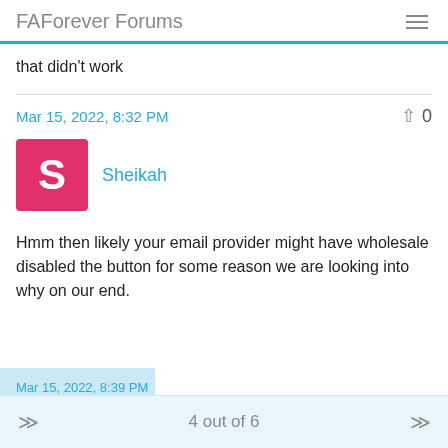FAForever Forums
that didn't work
Mar 15, 2022, 8:32 PM
[Figure (illustration): User avatar for Sheikah: pink/magenta square with white letter S]
Sheikah
Hmm then likely your email provider might have wholesale disabled the button for some reason we are looking into why on our end.
4 out of 6